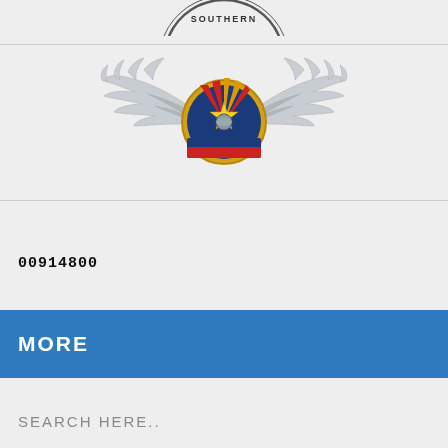[Figure (logo): Partial circular seal/logo with text 'SOUTHERN' visible at top, cropped at top of page]
[Figure (logo): Military-style wings emblem with Arizona state flag colors on central badge, silver wings spread on either side, gold border on central medallion]
00914800
MORE
SEARCH HERE..